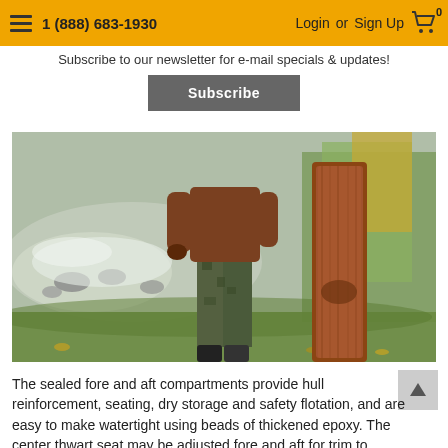1 (888) 683-1930  Login or Sign Up  Cart 0
Subscribe to our newsletter for e-mail specials & updates!
Subscribe
[Figure (photo): A person standing outdoors near a rocky river, wearing camouflage pants and a brown jacket, holding a wooden canoe hull vertically on grassy ground with autumn trees in the background.]
The sealed fore and aft compartments provide hull reinforcement, seating, dry storage and safety flotation, and are easy to make watertight using beads of thickened epoxy. The center thwart seat may be adjusted fore and aft for trim to